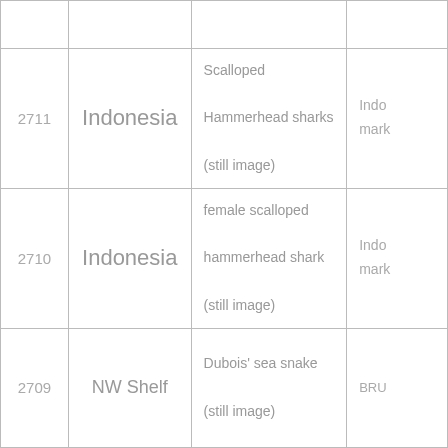| ID | Location | Description | Source |
| --- | --- | --- | --- |
|  |  |  |  |
| 2711 | Indonesia | Scalloped Hammerhead sharks (still image) | Indo mark |
| 2710 | Indonesia | female scalloped hammerhead shark (still image) | Indo mark |
| 2709 | NW Shelf | Dubois' sea snake (still image) | BRU |